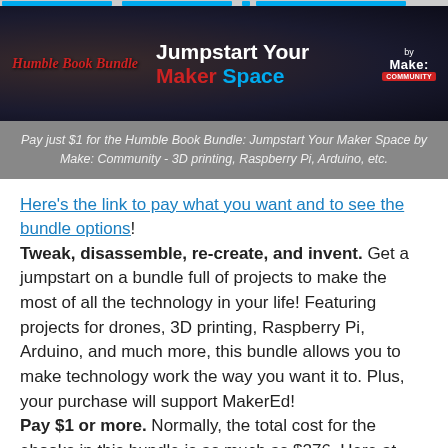[Figure (screenshot): Humble Book Bundle banner — 'Jumpstart Your Maker Space by Make: Community' promotional header with dark background, red/italic 'Humble Book Bundle' logo on left and white/red/blue 'Jumpstart Your Maker Space' text on right with Make: badge]
Pay just $1 for the Humble Book Bundle: Jumpstart Your Maker Space by Make: Community - 3D printing, Raspberry Pi, Arduino, etc.
Here's the link to pay what you want and to see the bundle options! Tweak, disassemble, re-create, and invent. Get a jumpstart on a bundle full of projects to make the most of all the technology in your life! Featuring projects for drones, 3D printing, Raspberry Pi, Arduino, and much more, this bundle allows you to make technology work the way you want it to. Plus, your purchase will support MakerEd! Pay $1 or more. Normally, the total cost for the ebooks in this bundle is as much as $276. Here at Humble Bundle, you choose the price and increase